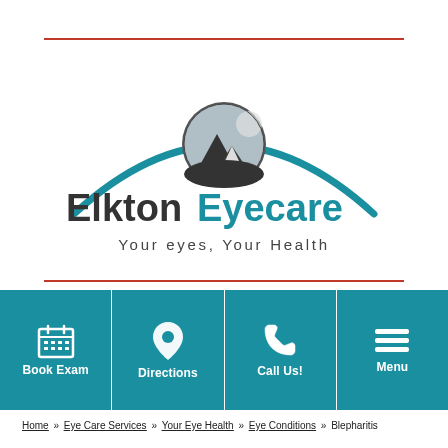[Figure (logo): Elkton Eyecare logo with eye graphic arc and mountain scene circle]
Your eyes, Your Health
[Figure (infographic): Navigation bar with four teal buttons: Book Exam (calendar icon), Directions (location pin icon), Call Us! (phone icon), Menu (hamburger icon)]
Home » Eye Care Services » Your Eye Health » Eye Conditions » Blepharitis